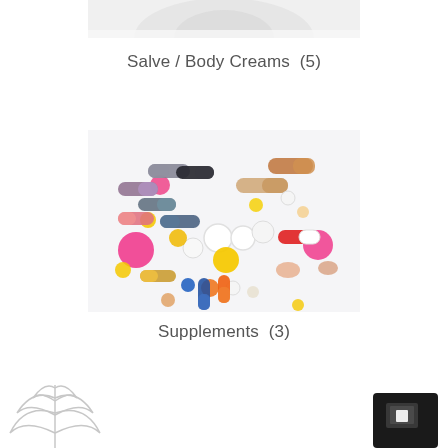[Figure (photo): Partial top image of salve or body cream product, cropped at top of page]
Salve / Body Creams  (5)
[Figure (photo): Colorful assortment of pills, tablets, and capsules scattered on a white background — supplement products]
Supplements  (3)
[Figure (photo): Partial bottom-left image showing what appears to be a cannabis leaf outline or decorative plant illustration]
[Figure (photo): Partial bottom-right image showing a dark rectangular shape with a small icon, likely a product or app screenshot]